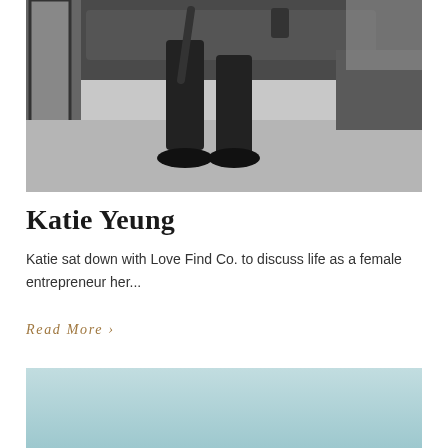[Figure (photo): Black and white photograph showing the lower body of a person sitting, wearing dark trousers and black shoes, holding a bag strap, with a couch and brick wall in the background.]
Katie Yeung
Katie sat down with Love Find Co. to discuss life as a female entrepreneur her...
Read More >
[Figure (photo): Light blue/teal colored photograph, partially visible at the bottom of the page.]